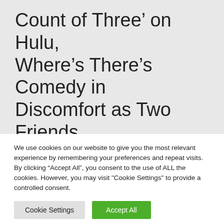Count of Three’ on Hulu, Where’s There’s Comedy in Discomfort as Two Friends Contemplate Ending It All
We use cookies on our website to give you the most relevant experience by remembering your preferences and repeat visits. By clicking “Accept All”, you consent to the use of ALL the cookies. However, you may visit "Cookie Settings" to provide a controlled consent.